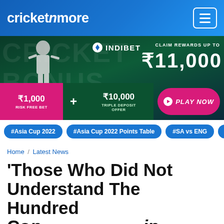cricketnmore
[Figure (infographic): INDIBET advertisement banner: Claim rewards up to ₹11,000. ₹1,000 Risk Free Bet + ₹10,000 Triple Deposit Offer. Play Now button.]
#Asia Cup 2022
#Asia Cup 2022 Points Table
#SA vs ENG
#The H...
Home / Latest News
'Those Who Did Not Understand The Hundred Con                   /in Dif...